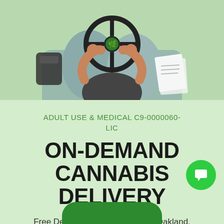[Figure (illustration): Illustration of a delivery driver viewed from above, holding a steering wheel with a cannabis leaf logo, with papers/documents visible. Set on a light green background.]
ADULT USE & MEDICAL C9-0000060-LIC
ON-DEMAND CANNABIS DELIVERY
Free Delivery to East Bay cities! Oakland, Emeryville, Alameda, Berkeley & Alba